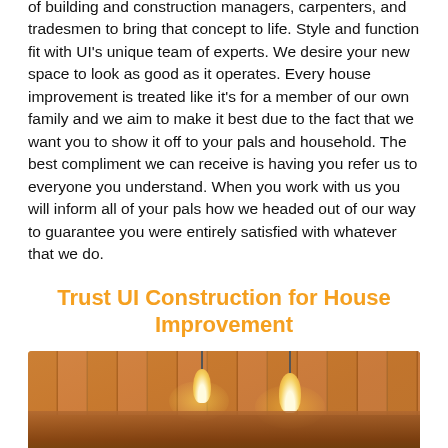of building and construction managers, carpenters, and tradesmen to bring that concept to life. Style and function fit with UI's unique team of experts. We desire your new space to look as good as it operates. Every house improvement is treated like it's for a member of our own family and we aim to make it best due to the fact that we want you to show it off to your pals and household. The best compliment we can receive is having you refer us to everyone you understand. When you work with us you will inform all of your pals how we headed out of our way to guarantee you were entirely satisfied with whatever that we do.
Trust UI Construction for House Improvement
[Figure (photo): Interior photo showing a wooden plank ceiling with warm pendant lights hanging down, warm amber lighting.]